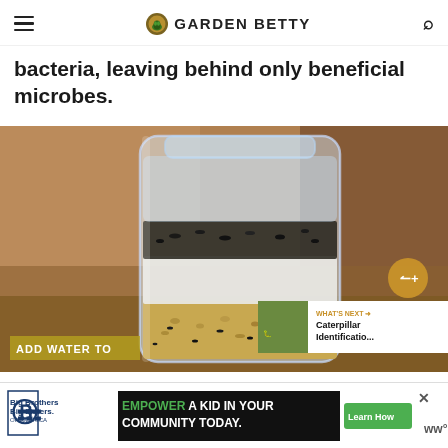GARDEN BETTY
bacteria, leaving behind only beneficial microbes.
[Figure (photo): A glass mason jar containing layered fermentation ingredients — visible layers of grains/seeds at bottom, a white liquid layer in middle, and dark seeds/debris on top, set against a blurred warm background. Overlay text reads 'ADD WATER TO'. A share button and 'WHAT'S NEXT: Caterpillar Identificatio...' box are visible.]
ADD WATER TO
[Figure (screenshot): Advertisement banner: Big Brothers Big Sisters logo on left, 'EMPOWER A KID IN YOUR COMMUNITY TODAY.' text in center with green Learn How button, close X button, and a stylized WW logo on right.]